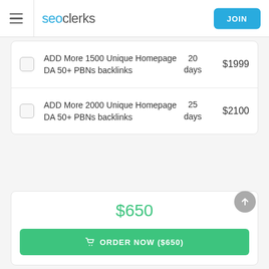seoclerks — JOIN
ADD More 1500 Unique Homepage DA 50+ PBNs backlinks — 20 days — $1999
ADD More 2000 Unique Homepage DA 50+ PBNs backlinks — 25 days — $2100
$650
ORDER NOW ($650)